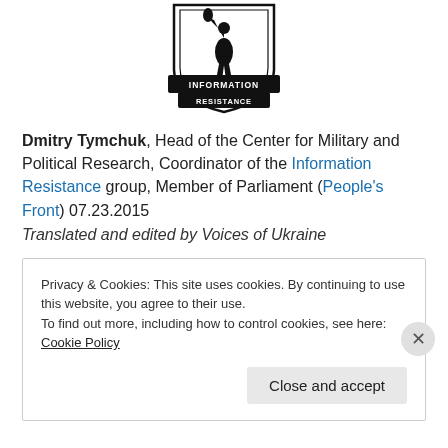[Figure (logo): Information Resistance group logo — black shield with torch-bearing figure and banner reading INFORMATION RESISTANCE]
Dmitry Tymchuk, Head of the Center for Military and Political Research, Coordinator of the Information Resistance group, Member of Parliament (People's Front) 07.23.2015
Translated and edited by Voices of Ukraine
Privacy & Cookies: This site uses cookies. By continuing to use this website, you agree to their use.
To find out more, including how to control cookies, see here: Cookie Policy
Close and accept